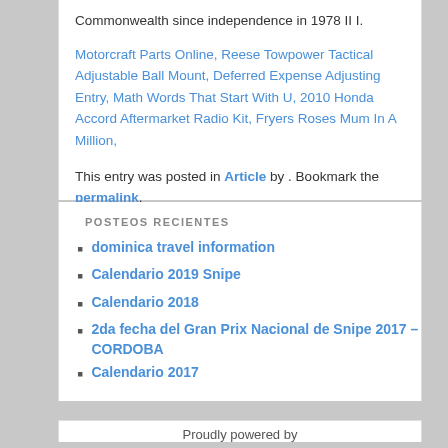Commonwealth since independence in 1978 II I.
Motorcraft Parts Online, Reese Towpower Tactical Adjustable Ball Mount, Deferred Expense Adjusting Entry, Math Words That Start With U, 2010 Honda Accord Aftermarket Radio Kit, Fryers Roses Mum In A Million,
This entry was posted in Article by . Bookmark the permalink.
POSTEOS RECIENTES
dominica travel information
Calendario 2019 Snipe
Calendario 2018
2da fecha del Gran Prix Nacional de Snipe 2017 – CORDOBA
Calendario 2017
Proudly powered by